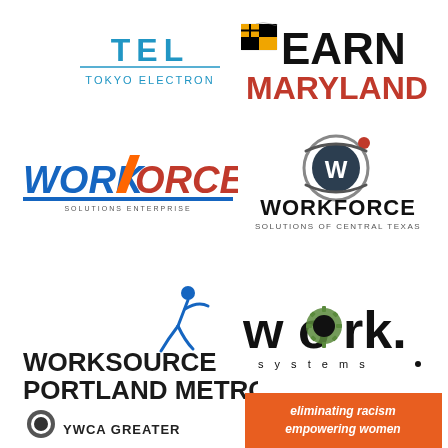[Figure (logo): TEL Tokyo Electron logo - blue text]
[Figure (logo): EARN Maryland logo with Maryland flag]
[Figure (logo): WORKFORCE Solutions Enterprise logo in red and blue]
[Figure (logo): WORKFORCE Solutions of Central Texas logo with W icon]
[Figure (logo): WorkSource Portland Metro logo with running figure]
[Figure (logo): work. systems logo in black with green gear O]
[Figure (logo): Small logo partially visible bottom left]
[Figure (logo): Orange box with text: eliminating racism empowering women]